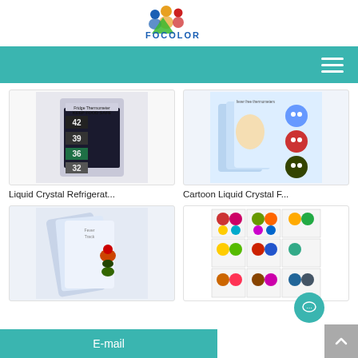[Figure (logo): Focolor logo with colorful figures and text FOCOLOR]
[Figure (screenshot): Navigation bar with hamburger menu icon on teal background]
[Figure (photo): Liquid crystal refrigerator thermometer product image]
Liquid Crystal Refrigerat...
[Figure (photo): Cartoon liquid crystal fever thermometer strips in packaging]
Cartoon Liquid Crystal F...
[Figure (photo): Fever Track liquid crystal thermometer product packaging]
[Figure (photo): Grid of cartoon animal shaped liquid crystal thermometers]
E-mail